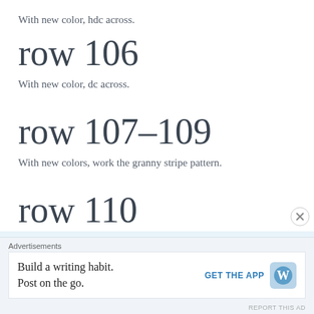With new color, hdc across.
row 106
With new color, dc across.
row 107–109
With new colors, work the granny stripe pattern.
row 110
With new color, dc across (sorry about the color qua
Advertisements
Build a writing habit. Post on the go.
GET THE APP
REPORT THIS AD